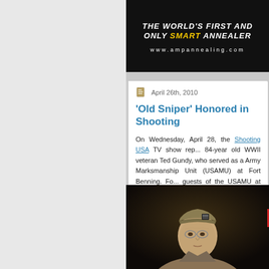[Figure (other): Advertisement banner for AMP Annealing: 'THE WORLD'S FIRST AND ONLY SMART ANNEALER' with website www.ampannealing.com on black background]
April 26th, 2010
'Old Sniper' Honored in Shooting...
On Wednesday, April 28, the Shooting USA TV show rep... 84-year old WWII veteran Ted Gundy, who served as a ... Army Marksmanship Unit (USAMU) at Fort Benning. Fo... guests of the USAMU at Fort Benning.
[Figure (photo): Photograph of an elderly man (Ted Gundy) wearing a military garrison cap and glasses, shown from shoulders up against a dark background]